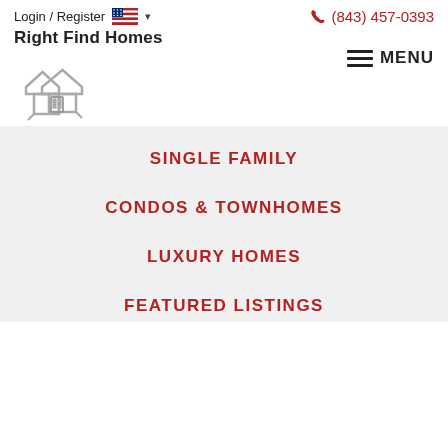Login / Register  (843) 457-0393
[Figure (logo): Right Find Homes logo with house/speech-bubble icon and tagline 'Real Estate Made Easy']
MENU
SINGLE FAMILY
CONDOS & TOWNHOMES
LUXURY HOMES
FEATURED LISTINGS